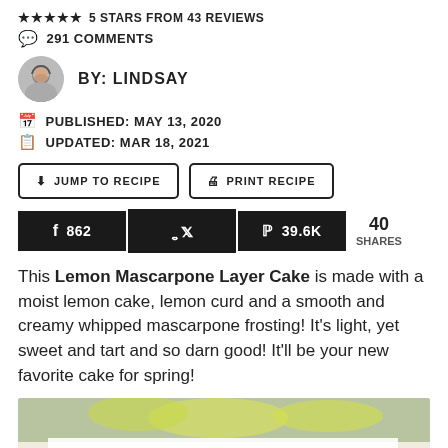★★★★★ 5 STARS FROM 43 REVIEWS
💬 291 COMMENTS
BY: LINDSAY
PUBLISHED: MAY 13, 2020
UPDATED: MAR 18, 2021
JUMP TO RECIPE   PRINT RECIPE
862   [twitter]   39.6K   40 SHARES
This Lemon Mascarpone Layer Cake is made with a moist lemon cake, lemon curd and a smooth and creamy whipped mascarpone frosting! It's light, yet sweet and tart and so darn good! It'll be your new favorite cake for spring!
[Figure (photo): Photo of lemon mascarpone layer cake slice with lemons]